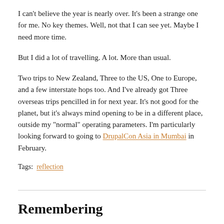I can't believe the year is nearly over. It's been a strange one for me. No key themes. Well, not that I can see yet. Maybe I need more time.
But I did a lot of travelling. A lot. More than usual.
Two trips to New Zealand, Three to the US, One to Europe, and a few interstate hops too. And I've already got Three overseas trips pencilled in for next year. It's not good for the planet, but it's always mind opening to be in a different place, outside my "normal" operating parameters. I'm particularly looking forward to going to DrupalCon Asia in Mumbai in February.
Tags: reflection
Remembering